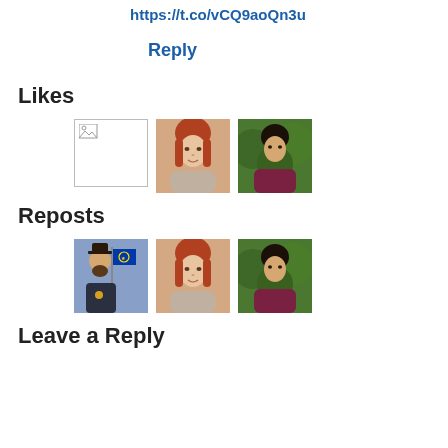https://t.co/vCQ9aoQn3u
Reply
Likes
[Figure (photo): Three user avatars in the Likes section: a broken image placeholder, a woman with red hair selfie, and a woman outdoors in a maroon jacket]
Reposts
[Figure (photo): Three user avatars in the Reposts section: a man in historical costume with EU flag, a woman with red hair selfie, and a woman outdoors in a maroon jacket]
Leave a Reply